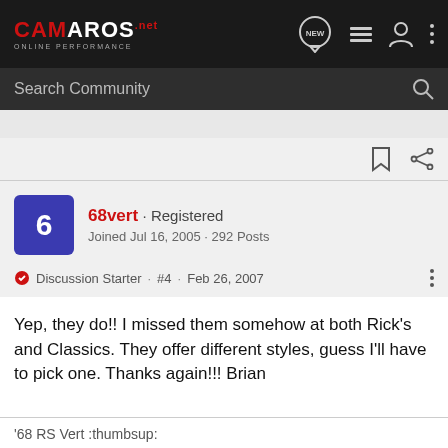CAMAROS.net ONLINE PERFORMANCE
Search Community
68vert · Registered
Joined Jul 16, 2005 · 292 Posts
Discussion Starter · #4 · Feb 26, 2007
Yep, they do!! I missed them somehow at both Rick's and Classics. They offer different styles, guess I'll have to pick one. Thanks again!!! Brian
'68 RS Vert :thumbsup: